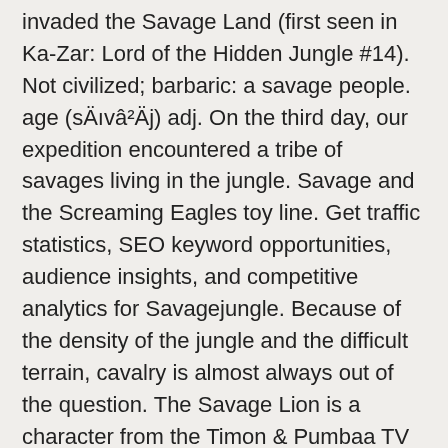invaded the Savage Land (first seen in Ka-Zar: Lord of the Hidden Jungle #14). Not civilized; barbaric: a savage people. age (sÄvâ²Äj) adj. On the third day, our expedition encountered a tribe of savages living in the jungle. Savage and the Screaming Eagles toy line. Get traffic statistics, SEO keyword opportunities, audience insights, and competitive analytics for Savagejungle. Because of the density of the jungle and the difficult terrain, cavalry is almost always out of the question. The Savage Lion is a character from the Timon & Pumbaa TV series who appears in the episode "You Ghana Join the Club". Journey through the fantastic lands of Tarzan in a 3-part adventure created especially for virtual reality. Jungle Lyrics: Nigga, this is what that jungle do / You been plottin', nigga, wasn't you? PLAYERUNKNOWN'S BATTLEGROUNDS, logo, map & text are the property of Bluehole, Inc. Hosting provided by Door Attendant. 1 Background 1.1 Personality 1.2 Physical Description 2 Role